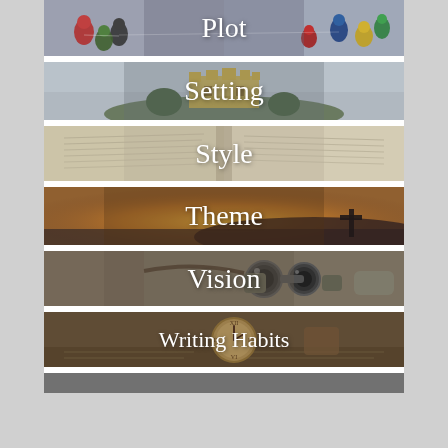[Figure (illustration): Banner with colorful board game pieces and text 'Plot']
[Figure (illustration): Banner with castle on island and text 'Setting']
[Figure (illustration): Banner with open book pages and text 'Style']
[Figure (illustration): Banner with sunset and cross silhouette and text 'Theme']
[Figure (illustration): Banner with binoculars and text 'Vision']
[Figure (illustration): Banner with clock and open book and text 'Writing Habits']
[Figure (illustration): Partial banner at bottom, cropped]